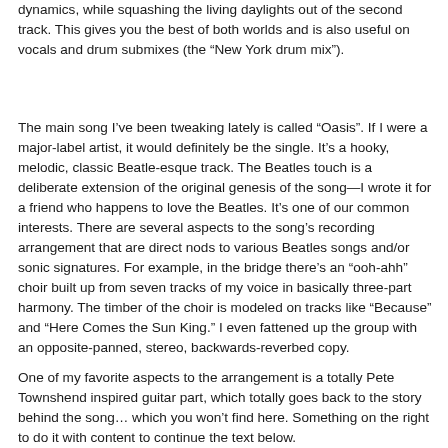dynamics, while squashing the living daylights out of the second track. This gives you the best of both worlds and is also useful on vocals and drum submixes (the “New York drum mix”).
The main song I’ve been tweaking lately is called “Oasis”. If I were a major-label artist, it would definitely be the single. It’s a hooky, melodic, classic Beatle-esque track. The Beatles touch is a deliberate extension of the original genesis of the song—I wrote it for a friend who happens to love the Beatles. It’s one of our common interests. There are several aspects to the song’s recording arrangement that are direct nods to various Beatles songs and/or sonic signatures. For example, in the bridge there’s an “ooh-ahh” choir built up from seven tracks of my voice in basically three-part harmony. The timber of the choir is modeled on tracks like “Because” and “Here Comes the Sun King.” I even fattened up the group with an opposite-panned, stereo, backwards-reverbed copy.
One of my favorite aspects to the arrangement is a totally Pete Townshend inspired guitar part, which totally goes back to the story behind the song… which you won’t find here. Something on the left after right to do it with content...